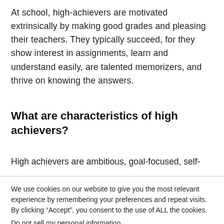At school, high-achievers are motivated extrinsically by making good grades and pleasing their teachers. They typically succeed, for they show interest in assignments, learn and understand easily, are talented memorizers, and thrive on knowing the answers.
What are characteristics of high achievers?
High achievers are ambitious, goal-focused, self-
We use cookies on our website to give you the most relevant experience by remembering your preferences and repeat visits. By clicking “Accept”, you consent to the use of ALL the cookies.
Do not sell my personal information.